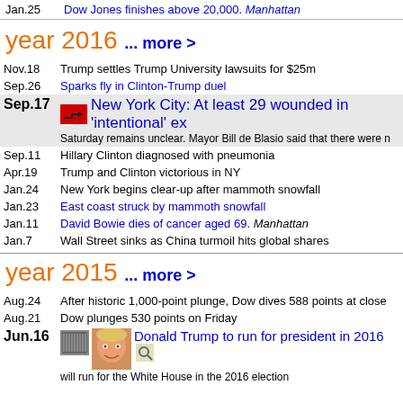Jan.25 — Dow Jones finishes above 20,000. Manhattan
year 2016 ... more >
Nov.18 — Trump settles Trump University lawsuits for $25m
Sep.26 — Sparks fly in Clinton-Trump duel
Sep.17 — New York City: At least 29 wounded in 'intentional' ex... Saturday remains unclear. Mayor Bill de Blasio said that there were n...
Sep.11 — Hillary Clinton diagnosed with pneumonia
Apr.19 — Trump and Clinton victorious in NY
Jan.24 — New York begins clear-up after mammoth snowfall
Jan.23 — East coast struck by mammoth snowfall
Jan.11 — David Bowie dies of cancer aged 69. Manhattan
Jan.7 — Wall Street sinks as China turmoil hits global shares
year 2015 ... more >
Aug.24 — After historic 1,000-point plunge, Dow dives 588 points at close
Aug.21 — Dow plunges 530 points on Friday
Jun.16 — Donald Trump to run for president in 2016 — will run for the White House in the 2016 election